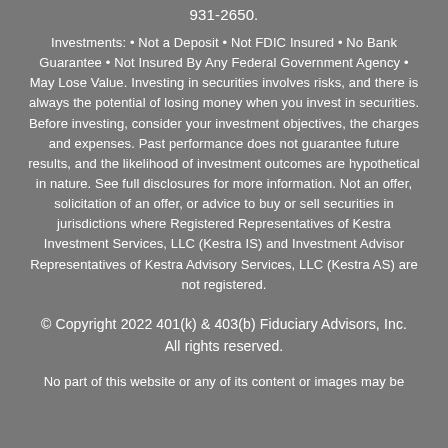931-2650.
Investments: • Not a Deposit • Not FDIC Insured • No Bank Guarantee • Not Insured By Any Federal Government Agency • May Lose Value. Investing in securities involves risks, and there is always the potential of losing money when you invest in securities. Before investing, consider your investment objectives, the charges and expenses. Past performance does not guarantee future results, and the likelihood of investment outcomes are hypothetical in nature. See full disclosures for more information. Not an offer, solicitation of an offer, or advice to buy or sell securities in jurisdictions where Registered Representatives of Kestra Investment Services, LLC (Kestra IS) and Investment Advisor Representatives of Kestra Advisory Services, LLC (Kestra AS) are not registered.
© Copyright 2022 401(k) & 403(b) Fiduciary Advisors, Inc.
All rights reserved.
No part of this website or any of its content or images may be